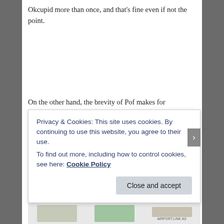Okcupid more than once, and that's fine even if not the point.
On the other hand, the brevity of Pof makes for projection and fantasy, which are key qualities in attraction. Just tell barely enough about yourself to get people interested in more. That's the trick. Guess I could say I had more than a bit of 'success' in my Pof escapades…
Anyway, I met Kendra. I met some Chinese girls too in
Privacy & Cookies: This site uses cookies. By continuing to use this website, you agree to their use.
To find out more, including how to control cookies, see here: Cookie Policy